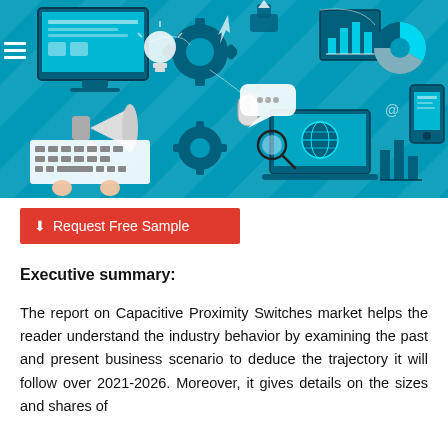[Figure (illustration): Technology and digital marketing themed illustration with blue background showing computer monitor, keyboard, gears, magnifying glass over globe/laptop, pie chart, bar chart, smartphone, megaphone, mouse, speech bubble, light bulb, and various connected icons on a teal/blue striped background]
⬇ Request Free Sample
Executive summary:
The report on Capacitive Proximity Switches market helps the reader understand the industry behavior by examining the past and present business scenario to deduce the trajectory it will follow over 2021-2026. Moreover, it gives details on the sizes and shares of